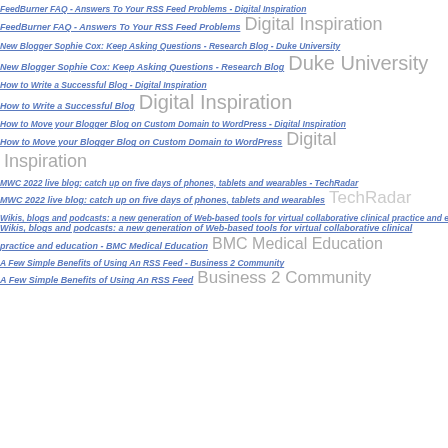FeedBurner FAQ - Answers To Your RSS Feed Problems - Digital Inspiration | FeedBurner FAQ - Answers To Your RSS Feed Problems   Digital Inspiration
New Blogger Sophie Cox: Keep Asking Questions - Research Blog - Duke University | New Blogger Sophie Cox: Keep Asking Questions - Research Blog   Duke University
How to Write a Successful Blog - Digital Inspiration | How to Write a Successful Blog   Digital Inspiration
How to Move your Blogger Blog on Custom Domain to WordPress - Digital Inspiration | How to Move your Blogger Blog on Custom Domain to WordPress   Digital Inspiration
MWC 2022 live blog: catch up on five days of phones, tablets and wearables - TechRadar | MWC 2022 live blog: catch up on five days of phones, tablets and wearables   TechRadar
Wikis, blogs and podcasts: a new generation of Web-based tools for virtual collaborative clinical practice and education - BMC Medical Education - BMC Medical Education | Wikis, blogs and podcasts: a new generation of Web-based tools for virtual collaborative clinical practice and education - BMC Medical Education   BMC Medical Education
A Few Simple Benefits of Using An RSS Feed - Business 2 Community | A Few Simple Benefits of Using An RSS Feed   Business 2 Community